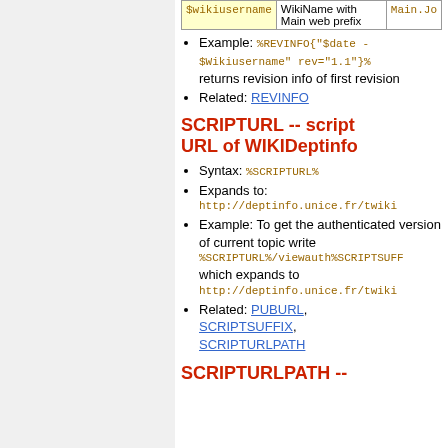|  | of revision |  |
| --- | --- | --- |
| $wikiusername | WikiName with Main web prefix | Main.Jo |
Example: %REVINFO{"$date - $Wikiusername" rev="1.1"}% returns revision info of first revision
Related: REVINFO
SCRIPTURL -- script URL of WIKIDeptinfo
Syntax: %SCRIPTURL%
Expands to: http://deptinfo.unice.fr/twiki...
Example: To get the authenticated version of current topic write %SCRIPTURL%/viewauth%SCRIPTSUFF... which expands to http://deptinfo.unice.fr/twiki...
Related: PUBURL, SCRIPTSUFFIX, SCRIPTURLPATH
SCRIPTURLPATH --